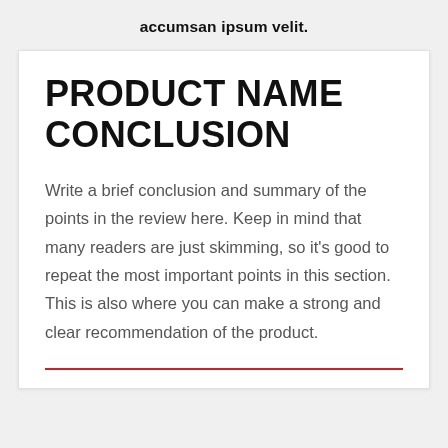accumsan ipsum velit.
PRODUCT NAME CONCLUSION
Write a brief conclusion and summary of the points in the review here. Keep in mind that many readers are just skimming, so it's good to repeat the most important points in this section. This is also where you can make a strong and clear recommendation of the product.